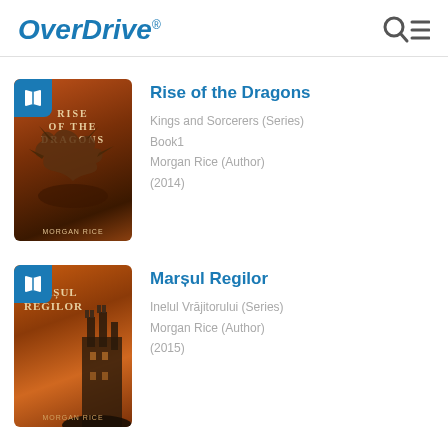OverDrive
[Figure (screenshot): Book cover: Rise of the Dragons, dark fantasy cover with dragon against orange sky]
Rise of the Dragons
Kings and Sorcerers (Series)
Book1
Morgan Rice (Author)
(2014)
[Figure (screenshot): Book cover: Marsul Regilor, orange sky with castle on rocky cliff]
Marșul Regilor
Inelul Vrājitorului (Series)
Morgan Rice (Author)
(2015)